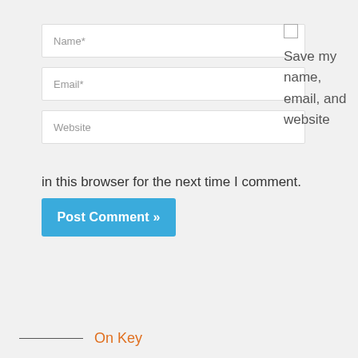Name*
Email*
Website
Save my name, email, and website
in this browser for the next time I comment.
Post Comment »
— On Key